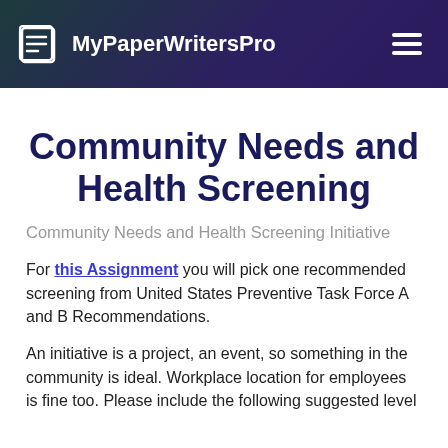MyPaperWritersPro
Community Needs and Health Screening
Community Needs and Health Screening Initiative
For this Assignment you will pick one recommended screening from United States Preventive Task Force A and B Recommendations.
An initiative is a project, an event, so something in the community is ideal. Workplace location for employees is fine too. Please include the following suggested level